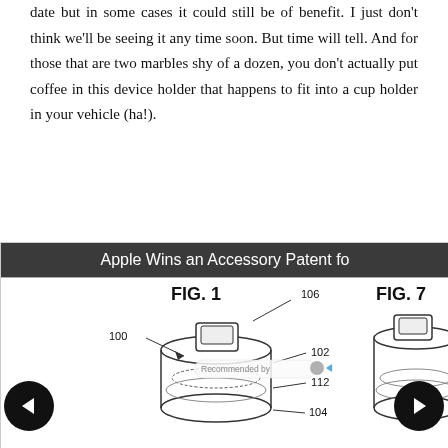date but in some cases it could still be of benefit. I just don't think we'll be seeing it any time soon. But time will tell. And for those that are two marbles shy of a dozen, you don't actually put coffee in this device holder that happens to fit into a cup holder in your vehicle (ha!).
[Figure (engineering-diagram): Patent drawing showing FIG. 1 and FIG. 7 of an Apple accessory patent, depicting a cup-holder device with labeled parts: 100, 102, 104, 106, 112. The figures show front and side views of the device. Navigation arrows (left and right) are overlaid. A 'Recommended by' badge is visible.]